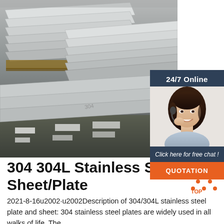[Figure (photo): Stacked stainless steel sheets/plates in a warehouse, viewed at an angle showing multiple layers on pallets]
[Figure (photo): 24/7 online chat widget showing a woman with headset smiling, with a dark navy background, italic text 'Click here for free chat!' and an orange QUOTATION button]
304 304L Stainless Steel Sheet/Plate
2021-8-16u2002·u2002Description of 304/304L stainless steel plate and sheet: 304 stainless steel plates are widely used in all walks of life. The